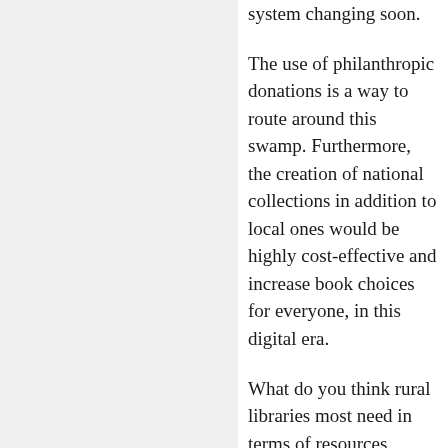system changing soon.

The use of philanthropic donations is a way to route around this swamp. Furthermore, the creation of national collections in addition to local ones would be highly cost-effective and increase book choices for everyone, in this digital era.

What do you think rural libraries most need in terms of resources, beyond access to more books for their patrons?

Meanwhile, the...